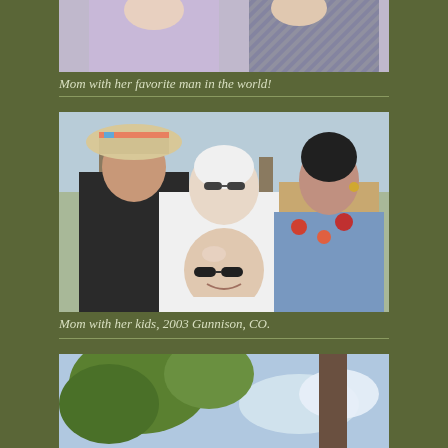[Figure (photo): Photo of Mom with her favorite man in the world - two people visible, cropped at top of page]
Mom with her favorite man in the world!
[Figure (photo): Group photo of Mom with her kids in 2003 Gunnison, CO - four people including a woman in cowboy hat, older woman in white top, bald man with sunglasses, and a dark-haired woman, outdoors with trees in background]
Mom with her kids, 2003 Gunnison, CO.
[Figure (photo): Outdoor photo with trees and sky visible, partially cropped at bottom of page]